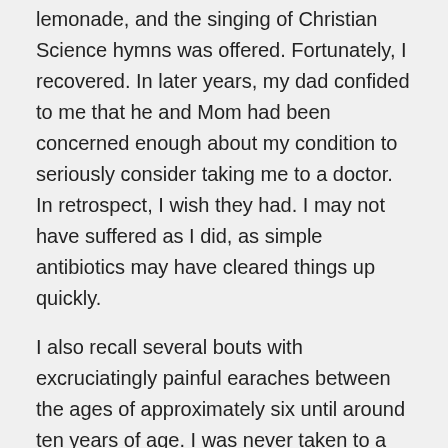lemonade, and the singing of Christian Science hymns was offered. Fortunately, I recovered. In later years, my dad confided to me that he and Mom had been concerned enough about my condition to seriously consider taking me to a doctor. In retrospect, I wish they had. I may not have suffered as I did, as simple antibiotics may have cleared things up quickly.
I also recall several bouts with excruciatingly painful earaches between the ages of approximately six until around ten years of age. I was never taken to a doctor, where the pain could have been quickly abated and the infection properly treated with antibiotics. No, I was made to listen to a Christian Science practitioner, who tried to assure me that as 'God's perfect child', the earache was an unreal 'illusion', or some such esoteric Christian Science crap.
I consider myself extremely fortunate to have survived my childhood with, as far as I can tell, few if any